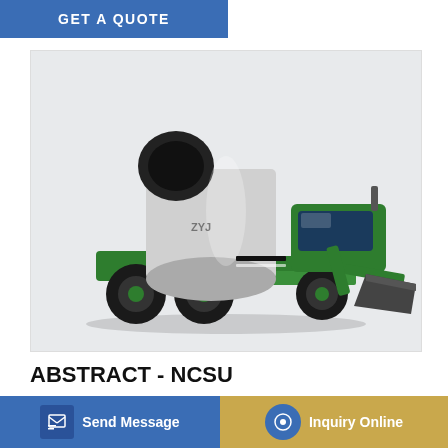GET A QUOTE
[Figure (photo): Green self-loading concrete mixer truck with white drum and black front loader bucket, on white/grey background]
ABSTRACT - NCSU
leads to reduced unit weight, enhances flowability of the fresh concrete for pumping purposes and produces durable concrete for freeze/thaw and deicing exposed conditions. It meets the specification ACI 318-C… and for… concrete…
Send Message   Inquiry Online